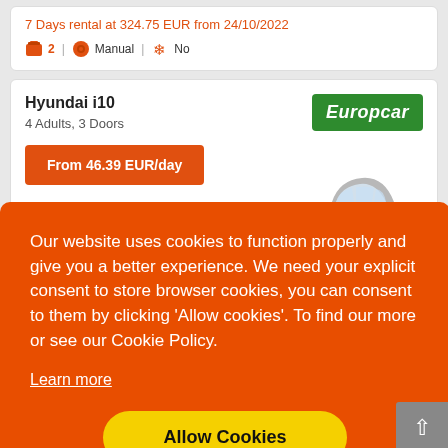7 Days rental at 324.75 EUR from 24/10/2022
2 | Manual | No
Hyundai i10
4 Adults, 3 Doors
From 46.39 EUR/day
[Figure (logo): Europcar logo - green background with white italic text]
[Figure (photo): Small silver/grey hatchback car (Hyundai i10) viewed from front-left angle]
Our website uses cookies to function properly and give you a better experience. We need your explicit consent to store browser cookies, you can consent to them by clicking ‘Allow cookies’. To find our more or see our Cookie Policy.
Learn more
Allow Cookies